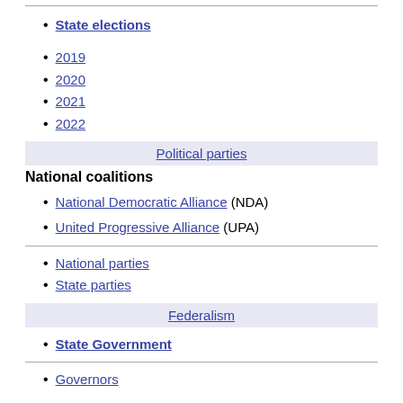State elections
2019
2020
2021
2022
Political parties
National coalitions
National Democratic Alliance (NDA)
United Progressive Alliance (UPA)
National parties
State parties
Federalism
State Government
Governors